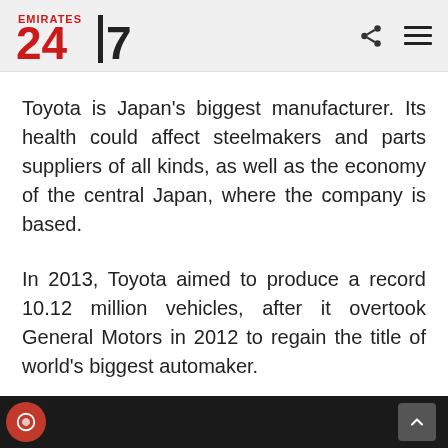Emirates 24|7
Toyota is Japan's biggest manufacturer. Its health could affect steelmakers and parts suppliers of all kinds, as well as the economy of the central Japan, where the company is based.
In 2013, Toyota aimed to produce a record 10.12 million vehicles, after it overtook General Motors in 2012 to regain the title of world's biggest automaker.
The company built 9.3 million vehicles between January and November, with Japanese media saying it was on target to become the first automaker in...